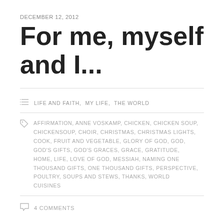DECEMBER 12, 2012
For me, myself and I...
LIFE AND FAITH, MY LIFE, THE WORLD
AFFIRMATION, ANNE VOSKAMP, CHICKEN, CHICKEN SOUP, CHICKENSOUP, CHOIR, CHRISTMAS, CHRISTMAS LIGHTS, COOK, FRUIT AND VEGETABLE, GLORY OF GOD, GOD, GOD'S GIFTS, GOD'S GRACES, GRACE, GRATITUDE, HOME, LIFE, LOVE OF GOD, MESSIAH, NAMING ONE THOUSAND GIFTS, ONE THOUSAND GIFTS, PERSPECTIVE, POULTRY, SOUPS AND STEWS, THANKS, WORLD CUISINES
4 COMMENTS